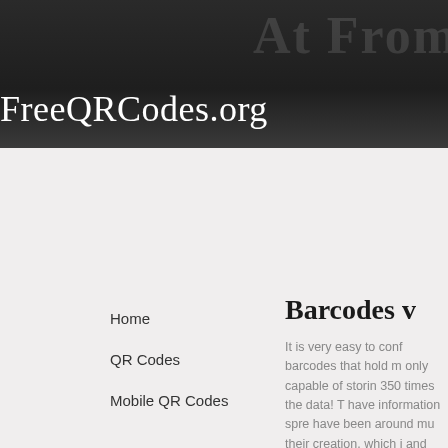FreeQRCodes.org
Home
QR Codes
Mobile QR Codes
Barcodes v
It is very easy to conf barcodes that hold m only capable of storin 350 times the data! T have information spre have been around mu their creation, which i and personal uses. Q